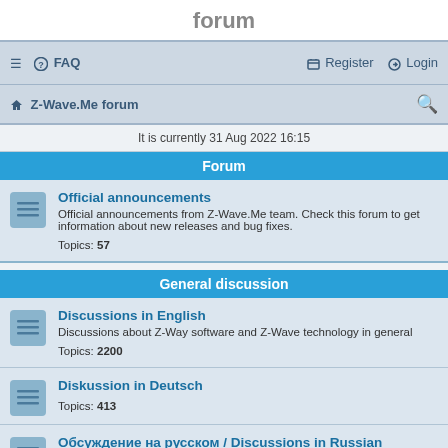forum
≡  FAQ    Register  Login
Z-Wave.Me forum  🔍
It is currently 31 Aug 2022 16:15
Forum
Official announcements
Official announcements from Z-Wave.Me team. Check this forum to get information about new releases and bug fixes.
Topics: 57
General discussion
Discussions in English
Discussions about Z-Way software and Z-Wave technology in general
Topics: 2200
Diskussion in Deutsch
Topics: 413
Обсуждение на русском / Discussions in Russian
Данный раздел предназначен для русскоязычных пользователей. Если вы владеете английским, рекомендуем также просмотреть общую ветку обсуждений на английском.
Topics: 425
Discussioni in italiano…